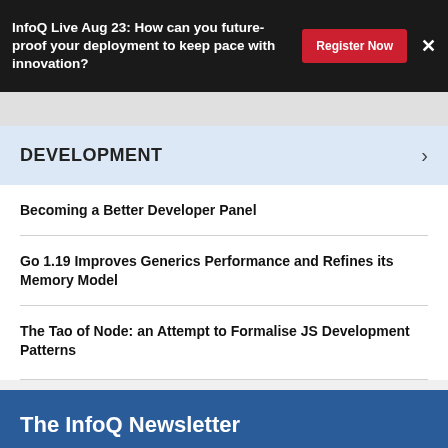InfoQ Live Aug 23: How can you future-proof your deployment to keep pace with innovation?
DEVELOPMENT
Becoming a Better Developer Panel
Go 1.19 Improves Generics Performance and Refines its Memory Model
The Tao of Node: an Attempt to Formalise JS Development Patterns
The InfoQ Newsletter
A round-up of last week's content on InfoQ